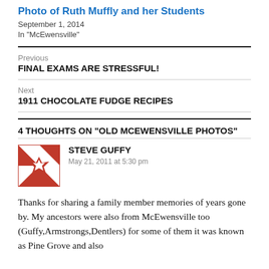Photo of Ruth Muffly and her Students
September 1, 2014
In "McEwensville"
Previous
FINAL EXAMS ARE STRESSFUL!
Next
1911 CHOCOLATE FUDGE RECIPES
4 THOUGHTS ON “OLD MCEWENSVILLE PHOTOS”
[Figure (illustration): Red and white quilt-pattern avatar icon for commenter Steve Guffy]
STEVE GUFFY
May 21, 2011 at 5:30 pm
Thanks for sharing a family member memories of years gone by. My ancestors were also from McEwensville too (Guffy,Armstrongs,Dentlers) for some of them it was known as Pine Grove and also